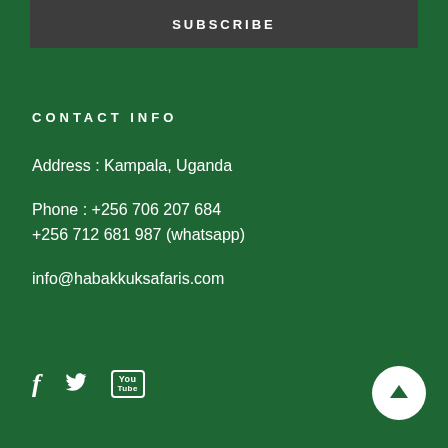SUBSCRIBE
CONTACT INFO
Address : Kampala, Uganda
Phone : +256 706 207 684
+256 712 681 987 (whatsapp)
info@habakkuksafaris.com
[Figure (other): Social media icons: Facebook, Twitter, YouTube]
[Figure (other): Back to top button with upward arrow]